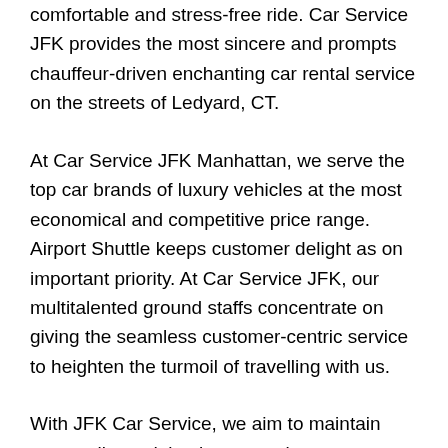comfortable and stress-free ride. Car Service JFK provides the most sincere and prompts chauffeur-driven enchanting car rental service on the streets of Ledyard, CT.
At Car Service JFK Manhattan, we serve the top car brands of luxury vehicles at the most economical and competitive price range. Airport Shuttle keeps customer delight as on important priority. At Car Service JFK, our multitalented ground staffs concentrate on giving the seamless customer-centric service to heighten the turmoil of travelling with us.
With JFK Car Service, we aim to maintain punctuality and timely car service as a primary